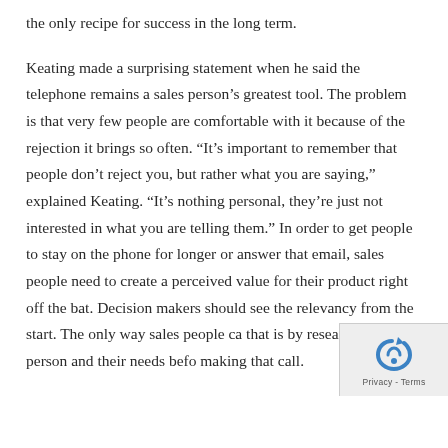the only recipe for success in the long term.

Keating made a surprising statement when he said the telephone remains a sales person's greatest tool. The problem is that very few people are comfortable with it because of the rejection it brings so often. “It’s important to remember that people don’t reject you, but rather what you are saying,” explained Keating. “It’s nothing personal, they’re just not interested in what you are telling them.” In order to get people to stay on the phone for longer or answer that email, sales people need to create a perceived value for their product right off the bat. Decision makers should see the relevancy from the start. The only way sales people ca that is by researching the person and their needs befo making that call.